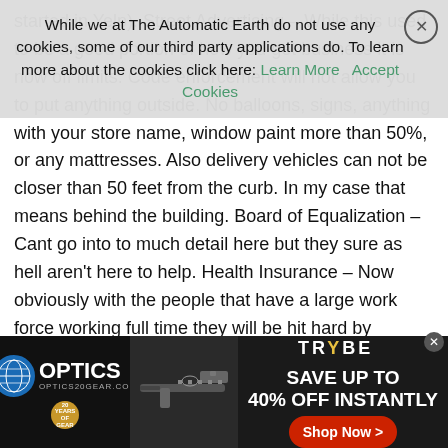While we at The Automatic Earth do not use any cookies, some of our third party applications do. To learn more about the cookies click here: Learn More   Accept Cookies
started in Yelp). Street Advertising – While this used to be a good portion of how you get business it is now off limits. Code enforcement will not allow you to put anything outside. No balloons, signs, anything with your store name, window paint more than 50%, or any mattresses. Also delivery vehicles can not be closer than 50 feet from the curb. In my case that means behind the building. Board of Equalization – Cant go into to much detail here but they sure as hell aren't here to help. Health Insurance – Now obviously with the people that have a large work force working full time they will be hit hard by obamacare, but i wanted to give you a perspective on a single person. The cheapest rate for myself and me only, and believe me i have looked around, is $250.00/month. Some might say oh that's not bad, but let me explain what that covers, NOTHING lol. Basically if something happens to me i have to shell out 6K before insurance gets
[Figure (other): Advertisement banner for Optics 20 Gear featuring a rifle/gun image and Trybe logo with 'SAVE UP TO 40% OFF INSTANTLY' and a red 'Shop Now >' button]